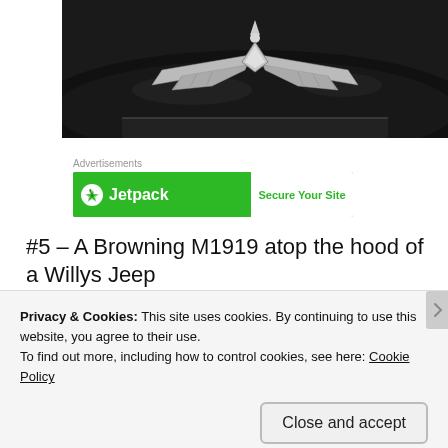[Figure (photo): Black and white close-up photograph of a vintage car hood with a winged eagle emblem/ornament in chrome]
Advertisements
[Figure (screenshot): Jetpack advertisement banner - green background with Jetpack logo on left and 'Secure Your Site' text on right white section]
#5 – A Browning M1919 atop the hood of a Willys Jeep
Privacy & Cookies: This site uses cookies. By continuing to use this website, you agree to their use.
To find out more, including how to control cookies, see here: Cookie Policy
Close and accept